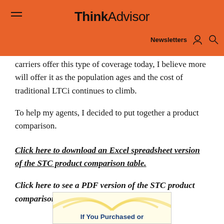ThinkAdvisor — Newsletters
carriers offer this type of coverage today, I believe more will offer it as the population ages and the cost of traditional LTCi continues to climb.
To help my agents, I decided to put together a product comparison.
Click here to download an Excel spreadsheet version of the STC product comparison table.
Click here to see a PDF version of the STC product comparison table.
[Figure (other): Advertisement or promotional box with text 'If You Purchased or' in blue on a light yellow background with decorative arcs]